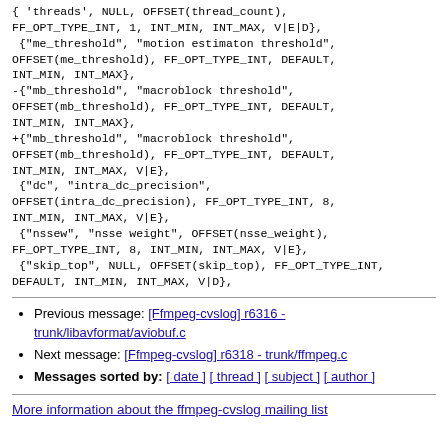{ 'threads', NULL, OFFSET(thread_count), FF_OPT_TYPE_INT, 1, INT_MIN, INT_MAX, V|E|D},
 {"me_threshold", "motion estimaton threshold", OFFSET(me_threshold), FF_OPT_TYPE_INT, DEFAULT, INT_MIN, INT_MAX},
-{"mb_threshold", "macroblock threshold", OFFSET(mb_threshold), FF_OPT_TYPE_INT, DEFAULT, INT_MIN, INT_MAX},
+{"mb_threshold", "macroblock threshold", OFFSET(mb_threshold), FF_OPT_TYPE_INT, DEFAULT, INT_MIN, INT_MAX, V|E},
 {"dc", "intra_dc_precision", OFFSET(intra_dc_precision), FF_OPT_TYPE_INT, 8, INT_MIN, INT_MAX, V|E},
 {"nssew", "nsse weight", OFFSET(nsse_weight), FF_OPT_TYPE_INT, 8, INT_MIN, INT_MAX, V|E},
 {"skip_top", NULL, OFFSET(skip_top), FF_OPT_TYPE_INT, DEFAULT, INT_MIN, INT_MAX, V|D},
Previous message: [Ffmpeg-cvslog] r6316 - trunk/libavformat/aviobuf.c
Next message: [Ffmpeg-cvslog] r6318 - trunk/ffmpeg.c
Messages sorted by: [ date ] [ thread ] [ subject ] [ author ]
More information about the ffmpeg-cvslog mailing list